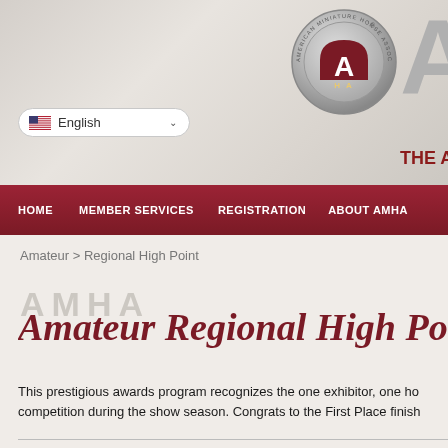[Figure (logo): AMHA (American Miniature Horse Association) website header with silver medal logo, large silver letter A, and partial text 'THE AMERIC']
[Figure (other): Language selector dropdown button showing US flag and 'English' text with chevron]
HOME | MEMBER SERVICES | REGISTRATION | ABOUT AMHA
Amateur > Regional High Point
AMHA Amateur Regional High Point
This prestigious awards program recognizes the one exhibitor, one ho... competition during the show season. Congrats to the First Place finish...